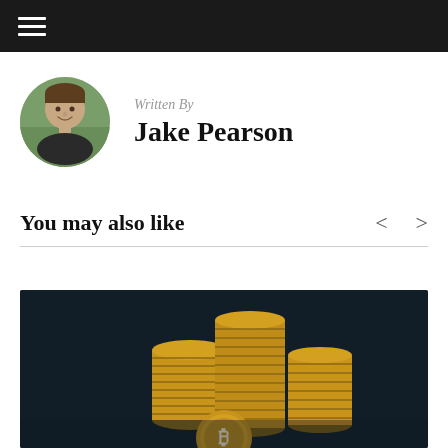Navigation bar with hamburger menu
Written By
Jake Pearson
You may also like
[Figure (photo): Stacks of gold coins on a dark background with a Bitcoin coin in the foreground]